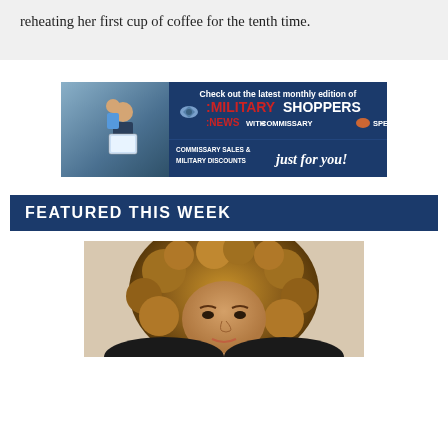reheating her first cup of coffee for the tenth time.
[Figure (photo): Advertisement banner for Military Shoppers News with Commissary Specials, featuring a father and child looking at a tablet. Text: 'Check out the latest monthly edition of MILITARY SHOPPERS NEWS WITH COMMISSARY SPECIALS. COMMISSARY SALES & MILITARY DISCOUNTS just for you!']
FEATURED THIS WEEK
[Figure (photo): Close-up photo of a woman with curly brown hair looking at the camera.]